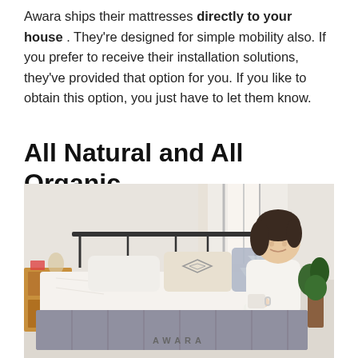Awara ships their mattresses directly to your house . They're designed for simple mobility also. If you prefer to receive their installation solutions, they've provided that option for you. If you like to obtain this option, you just have to let them know.
All Natural and All Organic
[Figure (photo): A woman in white clothing sits on an Awara mattress in a bright bedroom, holding a mug and smiling. The Awara logo is visible on the mattress front. Decorative pillows behind her, a wooden dresser on the left, and plants on the right.]